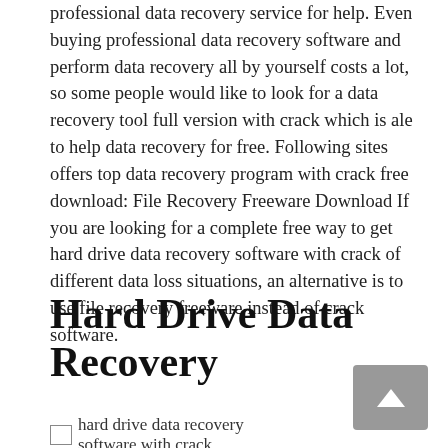professional data recovery service for help. Even buying professional data recovery software and perform data recovery all by yourself costs a lot, so some people would like to look for a data recovery tool full version with crack which is ale to help data recovery for free. Following sites offers top data recovery program with crack free download: File Recovery Freeware Download If you are looking for a complete free way to get hard drive data recovery software with crack of different data loss situations, an alternative is to use file recovery freeware instead of crack software.
Hard Drive Data Recovery
hard drive data recovery software with crack